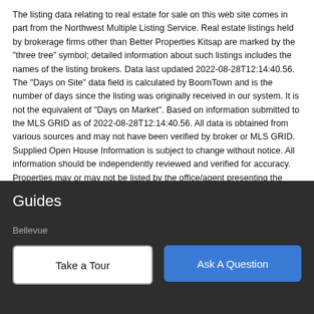The listing data relating to real estate for sale on this web site comes in part from the Northwest Multiple Listing Service. Real estate listings held by brokerage firms other than Better Properties Kitsap are marked by the "three tree" symbol; detailed information about such listings includes the names of the listing brokers. Data last updated 2022-08-28T12:14:40.56. The "Days on Site" data field is calculated by BoomTown and is the number of days since the listing was originally received in our system. It is not the equivalent of "Days on Market". Based on information submitted to the MLS GRID as of 2022-08-28T12:14:40.56. All data is obtained from various sources and may not have been verified by broker or MLS GRID. Supplied Open House Information is subject to change without notice. All information should be independently reviewed and verified for accuracy. Properties may or may not be listed by the office/agent presenting the information.
Guides
Bellevue
Take a Tour
Ask A Question